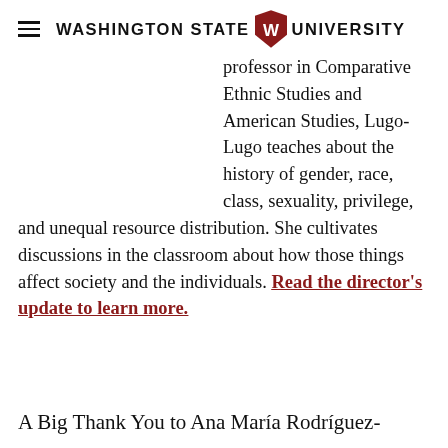Washington State University
professor in Comparative Ethnic Studies and American Studies, Lugo-Lugo teaches about the history of gender, race, class, sexuality, privilege, and unequal resource distribution. She cultivates discussions in the classroom about how those things affect society and the individuals. Read the director's update to learn more.
A Big Thank You to Ana María Rodríguez-